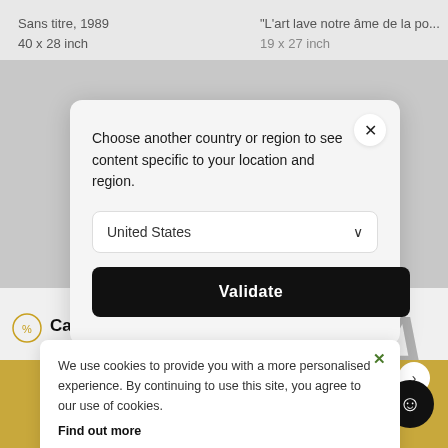Sans titre, 1989
40 x 28 inch
"L'art lave notre âme de la po...
19 x 27 inch
Catherine Reboul Be...
[Figure (screenshot): Country/region selection modal dialog with 'United States' dropdown and 'Validate' button]
[Figure (screenshot): Cookie consent banner with close button, cookie usage text, and Find out more link]
We use cookies to provide you with a more personalised experience. By continuing to use this site, you agree to our use of cookies.
Find out more
work no
the test →